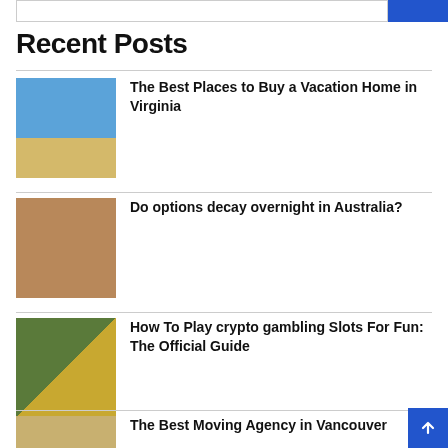Recent Posts
[Figure (photo): Beach house on sandy ground under blue sky]
The Best Places to Buy a Vacation Home in Virginia
[Figure (photo): Options trading book on a desk with laptop and coffee]
Do options decay overnight in Australia?
[Figure (photo): Hands holding gold Bitcoin coins]
How To Play crypto gambling Slots For Fun: The Official Guide
[Figure (photo): Moving related image]
The Best Moving Agency in Vancouver